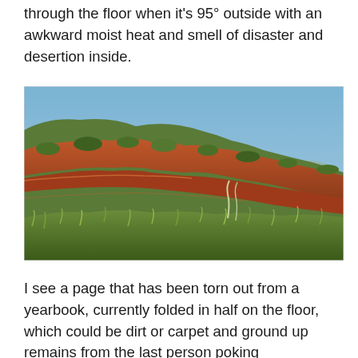through the floor when it's 95° outside with an awkward moist heat and smell of disaster and desertion inside.
[Figure (photo): Outdoor landscape photo showing red rock canyon cliffs with green shrubs and trees in the foreground under a clear blue sky.]
I see a page that has been torn out from a yearbook, currently folded in half on the floor, which could be dirt or carpet and ground up remains from the last person poking